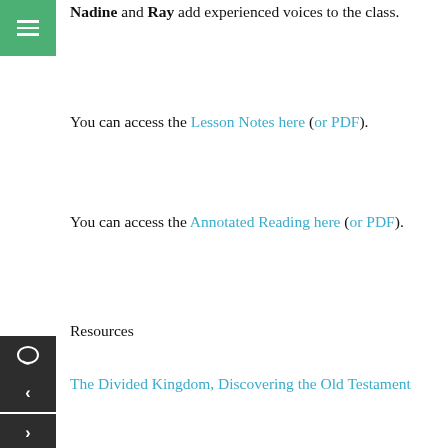Nadine and Ray add experienced voices to the class.
You can access the Lesson Notes here (or PDF).
You can access the Annotated Reading here (or PDF).
Resources
The Divided Kingdom, Discovering the Old Testament